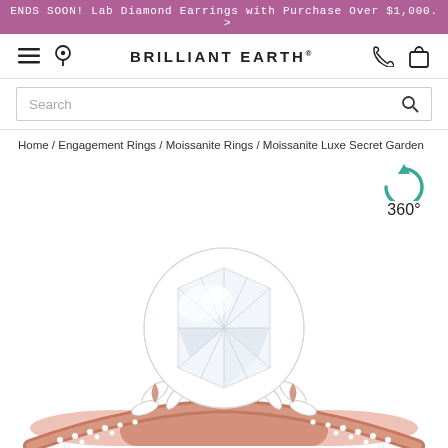ENDS SOON! Lab Diamond Earrings with Purchase Over $1,000. >
[Figure (screenshot): Brilliant Earth website navigation bar with hamburger menu, location pin icon, BRILLIANT EARTH logo, phone icon, and shopping bag icon]
Search
Home / Engagement Rings / Moissanite Rings / Moissanite Luxe Secret Garden
[Figure (other): 360 degree rotation icon in teal/green color with circular arrow]
[Figure (photo): Close-up product photo of the Moissanite Luxe Secret Garden engagement ring featuring a large round brilliant center stone with rose gold floral setting and pavé diamond band]